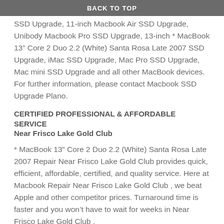BACK TO TOP
SSD Upgrade, 11-inch Macbook Air SSD Upgrade, Unibody Macbook Pro SSD Upgrade, 13-inch * MacBook 13” Core 2 Duo 2.2 (White) Santa Rosa Late 2007 SSD Upgrade, iMac SSD Upgrade, Mac Pro SSD Upgrade, Mac mini SSD Upgrade and all other MacBook devices. For further information, please contact Macbook SSD Upgrade Plano.
CERTIFIED PROFESSIONAL & AFFORDABLE SERVICE
Near Frisco Lake Gold Club
* MacBook 13” Core 2 Duo 2.2 (White) Santa Rosa Late 2007 Repair Near Frisco Lake Gold Club provides quick, efficient, affordable, certified, and quality service. Here at Macbook Repair Near Frisco Lake Gold Club , we beat Apple and other competitor prices. Turnaround time is faster and you won’t have to wait for weeks in Near Frisco Lake Gold Club .